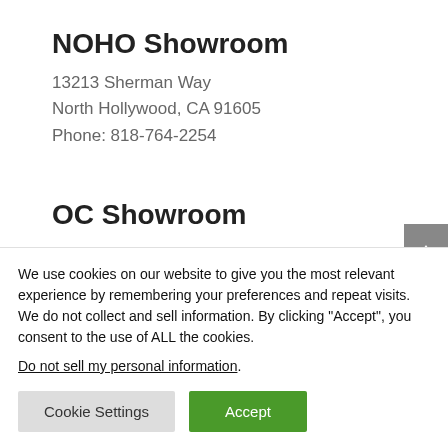NOHO Showroom
13213 Sherman Way
North Hollywood, CA 91605
Phone: 818-764-2254
OC Showroom
1201 E Ball Rd.
Anaheim, CA 92085
Phone:714-766-4440
We use cookies on our website to give you the most relevant experience by remembering your preferences and repeat visits. We do not collect and sell information. By clicking “Accept”, you consent to the use of ALL the cookies.
Do not sell my personal information.
Cookie Settings
Accept